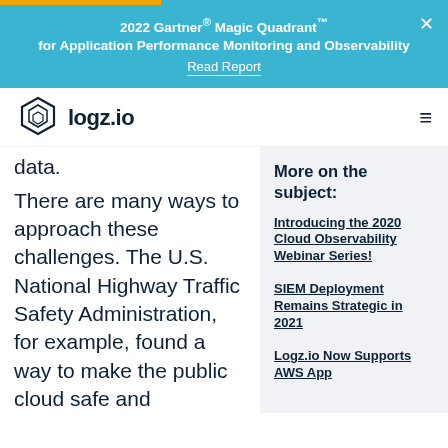2022 Gartner® Magic Quadrant™ for Application Performance Monitoring and Observability — Read Report
[Figure (logo): logz.io logo — hexagon icon with layered diamond shape inside, followed by bold text 'logz.io']
data.
There are many ways to approach these challenges. The U.S. National Highway Traffic Safety Administration, for example, found a way to make the public cloud safe and
More on the subject:
Introducing the 2020 Cloud Observability Webinar Series!
SIEM Deployment Remains Strategic in 2021
Logz.io Now Supports AWS App